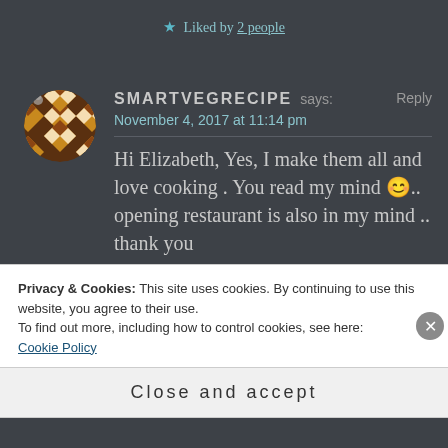★ Liked by 2 people
[Figure (illustration): Circular avatar with decorative brown and white diamond/triangle quilt pattern]
SMARTVEGRECIPE says: Reply
November 4, 2017 at 11:14 pm
Hi Elizabeth, Yes, I make them all and love cooking . You read my mind 😊.. opening restaurant is also in my mind .. thank you
Privacy & Cookies: This site uses cookies. By continuing to use this website, you agree to their use.
To find out more, including how to control cookies, see here:
Cookie Policy
Close and accept